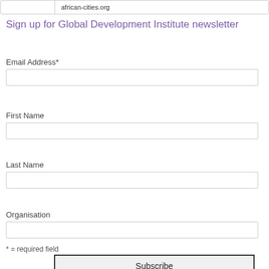african-cities.org
Sign up for Global Development Institute newsletter
Email Address*
First Name
Last Name
Organisation
* = required field
Subscribe